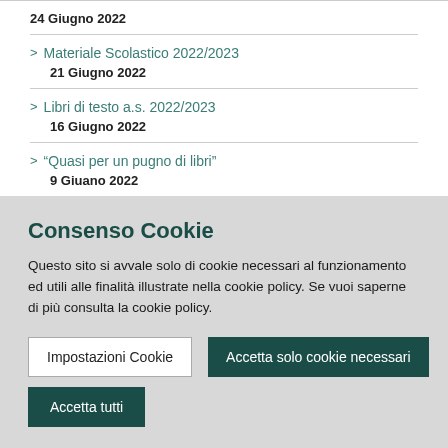24 Giugno 2022
Materiale Scolastico 2022/2023
21 Giugno 2022
Libri di testo a.s. 2022/2023
16 Giugno 2022
“Quasi per un pugno di libri”
9 Giuano 2022
Consenso Cookie
Questo sito si avvale solo di cookie necessari al funzionamento ed utili alle finalità illustrate nella cookie policy. Se vuoi saperne di più consulta la cookie policy.